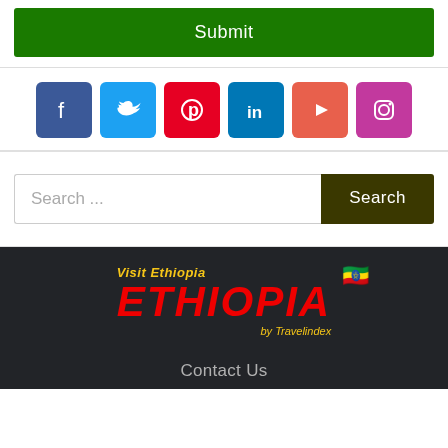[Figure (screenshot): Green Submit button]
[Figure (screenshot): Social media icons row: Facebook, Twitter, Pinterest, LinkedIn, YouTube, Instagram]
[Figure (screenshot): Search bar with text 'Search ...' and dark olive Search button]
[Figure (logo): Visit Ethiopia logo with ETHIOPIA text in red italic and 'by Travelindex' subtitle, Ethiopian flag emoji]
Contact Us